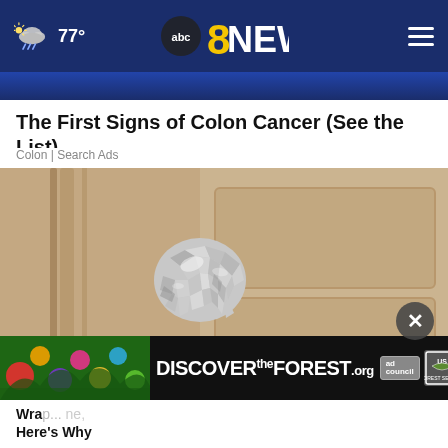77° abc 8 NEWS
[Figure (photo): Partial blue background image cropped at top of page]
The First Signs of Colon Cancer (See the List)
Colon | Search Ads
[Figure (photo): A door knob wrapped in aluminum foil on a wooden door]
[Figure (other): Discover the Forest .org advertisement banner with ad council and US Forest Service logos]
Wrap... ne, Here's Why